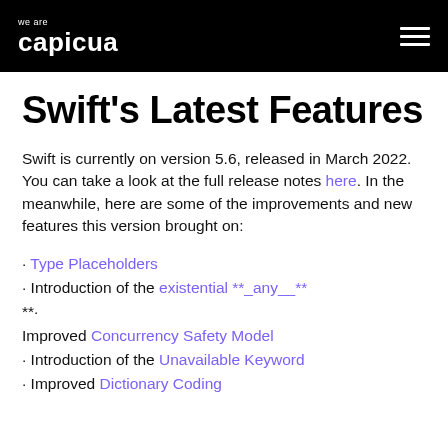we are capicua
Swift's Latest Features
Swift is currently on version 5.6, released in March 2022. You can take a look at the full release notes here. In the meanwhile, here are some of the improvements and new features this version brought on:
• Type Placeholders
• Introduction of the existential **_any__** **
**: Improved Concurrency Safety Model
• Introduction of the Unavailable Keyword
• Improved Dictionary Coding